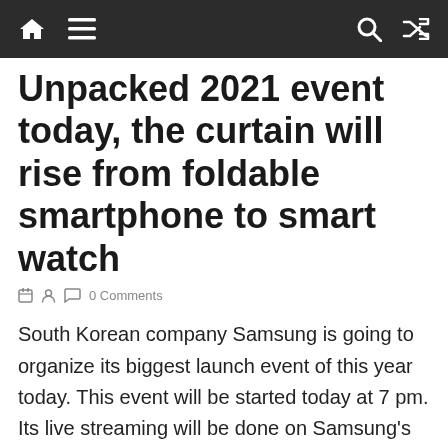Navigation bar with home, menu, search, and shuffle icons
Unpacked 2021 event today, the curtain will rise from foldable smartphone to smart watch
0 Comments
South Korean company Samsung is going to organize its biggest launch event of this year today. This event will be started today at 7 pm. Its live streaming will be done on Samsung's official website. In this virtual event, foldable smartphone Samsung Galaxy Z Fold 3 as well as Galaxy smartwatch and earbuds can be